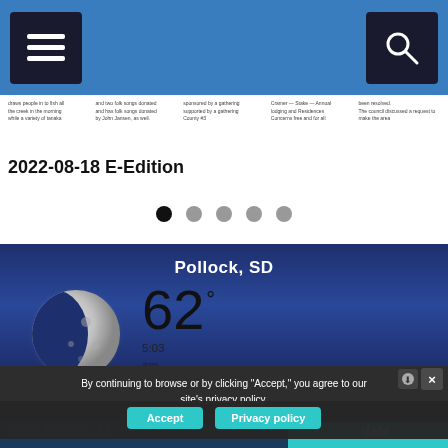Navigation bar with hamburger menu and search icon
[Figure (screenshot): E-Edition newspaper preview showing small text columns]
2022-08-18 E-Edition
• • • • •  (carousel navigation dots)
[Figure (illustration): Weather widget showing Pollock, SD with moon phase image, temperature 62 degrees, time 5:03 am CDT, condition Clear]
By continuing to browse or by clicking "Accept," you agree to our site's privacy policy.
Accept   Privacy policy
Get News U...